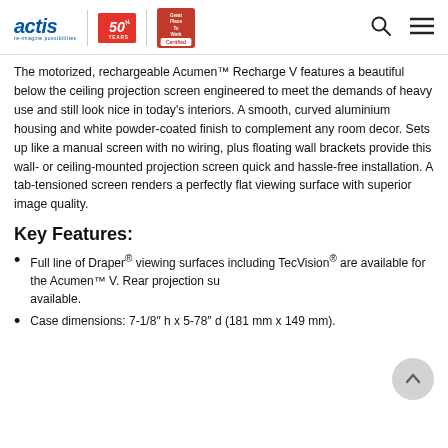actis | 50 Years | Great Place To Work Certified
The motorized, rechargeable Acumen™ Recharge V features a beautiful below the ceiling projection screen engineered to meet the demands of heavy use and still look nice in today's interiors. A smooth, curved aluminium housing and white powder-coated finish to complement any room decor. Sets up like a manual screen with no wiring, plus floating wall brackets provide this wall- or ceiling-mounted projection screen quick and hassle-free installation. A tab-tensioned screen renders a perfectly flat viewing surface with superior image quality.
Key Features:
Full line of Draper® viewing surfaces including TecVision® are available for the Acumen™ V. Rear projection surfaces also available.
Case dimensions: 7-1/8" h x 5-78" d (181 mm x 149 mm).